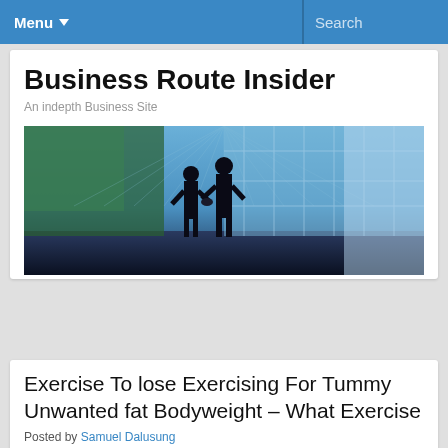Menu  Search
Business Route Insider
An indepth Business Site
[Figure (photo): Two businessmen shaking hands silhouetted against large glass windows in a modern office building, with blue-toned cityscape background]
Exercise To lose Exercising For Tummy Unwanted fat Bodyweight – What Exercise
Posted by Samuel Dalusung
No disgrace exercise for stomach unwanted fat in happening the knees. And sad to say, it truly is not workout for belly fat normally the